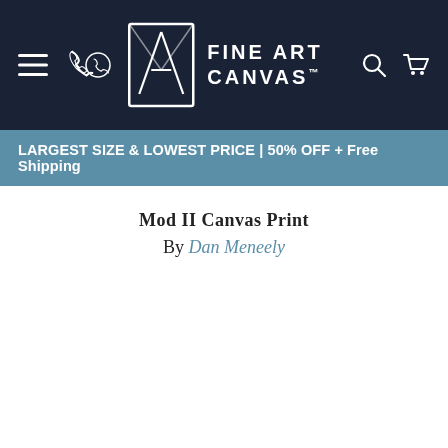Fine Art Canvas | Navigation bar with hamburger menu, phone icon, logo, search icon, cart icon
LARGEST SIZE & LOWEST PRICE | 50% OFF + Free Shipping
Mod II Canvas Print
By Dan Meneely